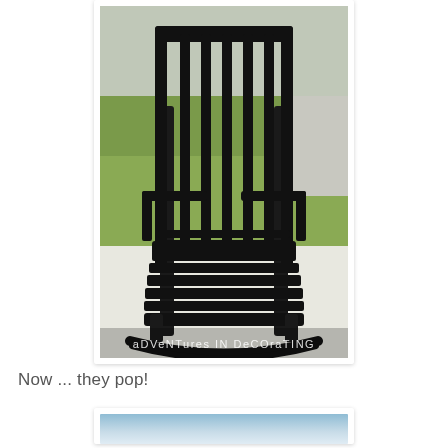[Figure (photo): A black painted wooden rocking chair photographed outdoors on a white surface, with green grass and a white building visible in the background. A watermark reads 'adventures in decorating' at the bottom of the image.]
Now ... they pop!
[Figure (photo): Partial view of another photo, appears to show blue/teal colored chairs or furniture outdoors.]